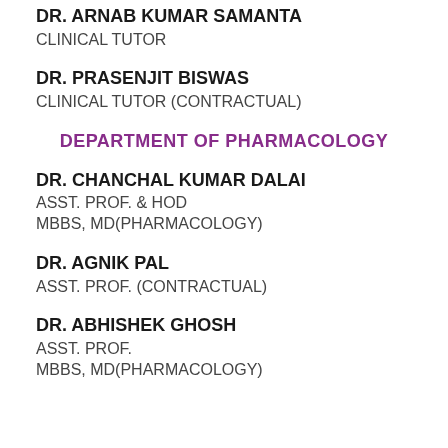DR. ARNAB KUMAR SAMANTA
CLINICAL TUTOR
DR. PRASENJIT BISWAS
CLINICAL TUTOR (CONTRACTUAL)
DEPARTMENT OF PHARMACOLOGY
DR. CHANCHAL KUMAR DALAI
ASST. PROF. & HOD
MBBS, MD(PHARMACOLOGY)
DR. AGNIK PAL
ASST. PROF. (CONTRACTUAL)
DR. ABHISHEK GHOSH
ASST. PROF.
MBBS, MD(PHARMACOLOGY)